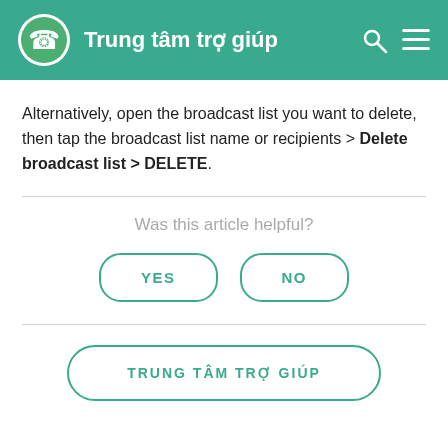Trung tâm trợ giúp
Alternatively, open the broadcast list you want to delete, then tap the broadcast list name or recipients > Delete broadcast list > DELETE.
Was this article helpful?
YES
NO
TRUNG TÂM TRỢ GIÚP